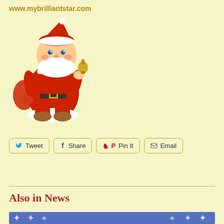www.mybrilliantstar.com
[Figure (illustration): Cartoon Santa Claus in red suit holding a gold bell and carrying a red sack, wearing brown boots, smiling with white beard]
[Figure (infographic): Social sharing buttons: Tweet (Twitter blue bird icon), Share (Facebook blue f icon), Pin It (Pinterest red P icon), Email (envelope icon), all with gold borders on yellow background]
Also in News
[Figure (illustration): Blue banner strip with white star/burst decorations at the bottom of the page]